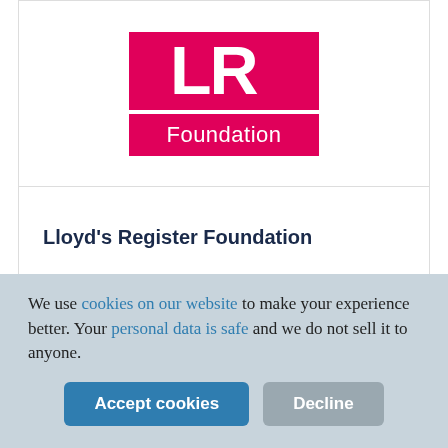[Figure (logo): Lloyd's Register Foundation logo — hot pink/magenta rectangle with white 'LR' letters on top, and a pink rectangle with white text 'Foundation' below]
Lloyd's Register Foundation
We use cookies on our website to make your experience better. Your personal data is safe and we do not sell it to anyone.